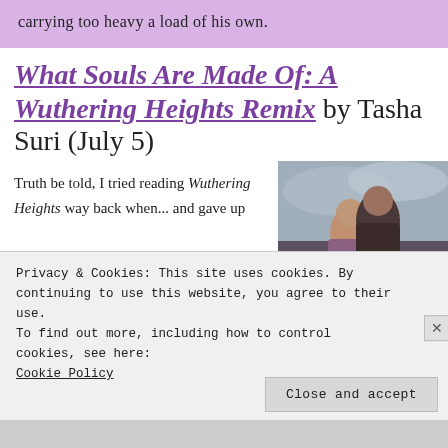carrying too heavy a load of his own.
What Souls Are Made Of: A Wuthering Heights Remix by Tasha Suri (July 5)
Truth be told, I tried reading Wuthering Heights way back when... and gave up
[Figure (photo): A man and woman in a romantic pose against a cloudy sky background, book cover style image]
Privacy & Cookies: This site uses cookies. By continuing to use this website, you agree to their use.
To find out more, including how to control cookies, see here: Cookie Policy
Close and accept